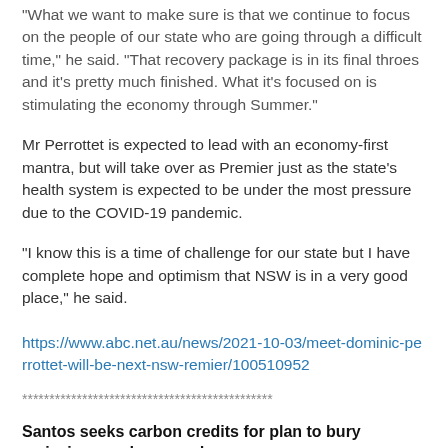"What we want to make sure is that we continue to focus on the people of our state who are going through a difficult time," he said. "That recovery package is in its final throes and it's pretty much finished. What it's focused on is stimulating the economy through Summer."
Mr Perrottet is expected to lead with an economy-first mantra, but will take over as Premier just as the state's health system is expected to be under the most pressure due to the COVID-19 pandemic.
"I know this is a time of challenge for our state but I have complete hope and optimism that NSW is in a very good place," he said.
https://www.abc.net.au/news/2021-10-03/meet-dominic-perrottet-will-be-next-nsw-remier/100510952
**********************************************
Santos seeks carbon credits for plan to bury emissions underground